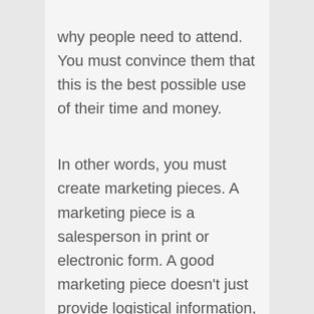why people need to attend. You must convince them that this is the best possible use of their time and money.

In other words, you must create marketing pieces. A marketing piece is a salesperson in print or electronic form. A good marketing piece doesn't just provide logistical information, it persuades people to act by addressing issues important to them.